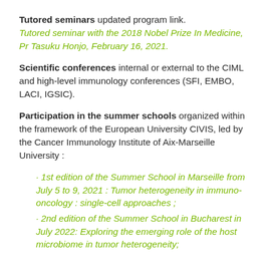Tutored seminars updated program link. Tutored seminar with the 2018 Nobel Prize In Medicine, Pr Tasuku Honjo, February 16, 2021.
Scientific conferences internal or external to the CIML and high-level immunology conferences (SFI, EMBO, LACI, IGSIC).
Participation in the summer schools organized within the framework of the European University CIVIS, led by the Cancer Immunology Institute of Aix-Marseille University :
1st edition of the Summer School in Marseille from July 5 to 9, 2021 : Tumor heterogeneity in immuno-oncology : single-cell approaches ;
2nd edition of the Summer School in Bucharest in July 2022: Exploring the emerging role of the host microbiome in tumor heterogeneity;